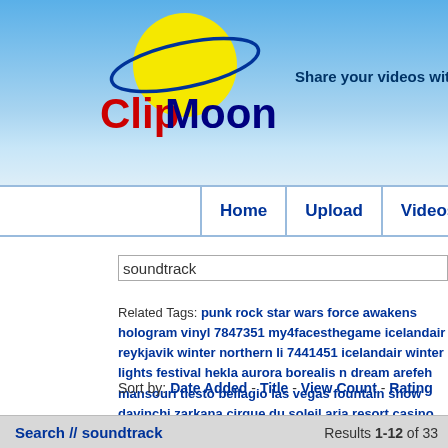[Figure (logo): ClipMoon logo with yellow circle, blue orbital ring, red 'Clip' and dark blue 'Moon' text]
Share your videos with the world
Home | Upload | Videos | Categories | P...
soundtrack
Related Tags: punk rock star wars force awakens hologram vinyl 7847351 my4facesthegame icelandair reykjavik winter northern li 7441451 icelandair winter lights festival hekla aurora borealis n dream arefeh mansouri tiesto bellagio las vegas fountain show davinchi zarkana cirque du soleil aria resort casino performance 65842 moonbeam feat archng kickstarter indiegogo crowdfunding donation blindfilmmmaker tim greene tim greene films tim green t google fundingcampaign yahoo youtube kicktraq blind talent dir disability disableddocumentary inspirational inspire overcome ind filmmaker hip hop filmmakersongwriter mix tape artist singer m drawings beautiful audio visual symphonic memorable gallery
Sort by: Date Added - Title - View Count - Rating
Search // soundtrack   Results 1-12 of 33